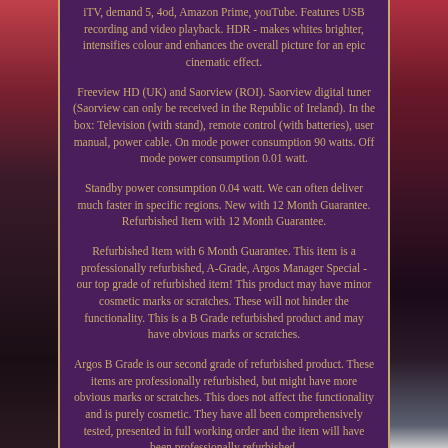iTV, demand 5, 4od, Amazon Prime, youTube. Features USB recording and video playback. HDR - makes whites brighter, intensifies colour and enhances the overall picture for an epic cinematic effect.
Freeview HD (UK) and Saorview (ROI). Saorview digital tuner (Saorview can only be received in the Republic of Ireland). In the box: Television (with stand), remote control (with batteries), user manual, power cable. On mode power consumption 90 watts. Off mode power consumption 0.01 watt.
Standby power consumption 0.04 watt. We can often deliver much faster in specific regions. New with 12 Month Guarantee. Refurbished Item with 12 Month Guarantee.
Refurbished Item with 6 Month Guarantee. This item is a professionally refurbished, A-Grade, Argos Manager Special - our top grade of refurbished item! This product may have minor cosmetic marks or scratches. These will not hinder the functionality. This is a B Grade refurbished product and may have obvious marks or scratches.
Argos B Grade is our second grade of refurbished product. These items are professionally refurbished, but might have more obvious marks or scratches. This does not affect the functionality and is purely cosmetic. They have all been comprehensively tested, presented in full working order and the item will have been professionally refurbished.